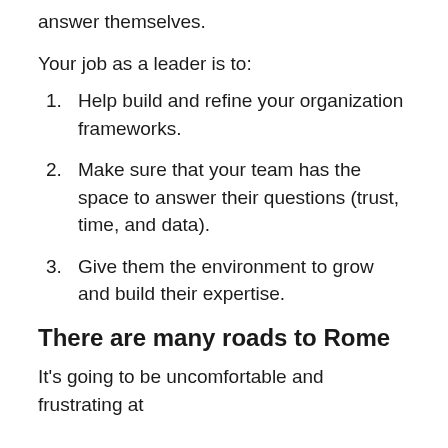answer themselves.
Your job as a leader is to:
Help build and refine your organization frameworks.
Make sure that your team has the space to answer their questions (trust, time, and data).
Give them the environment to grow and build their expertise.
There are many roads to Rome
It's going to be uncomfortable and frustrating at